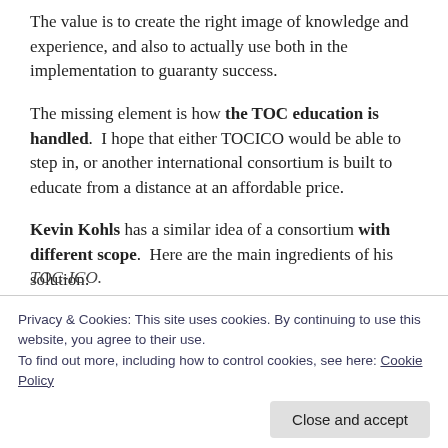The value is to create the right image of knowledge and experience, and also to actually use both in the implementation to guaranty success.
The missing element is how the TOC education is handled.  I hope that either TOCICO would be able to step in, or another international consortium is built to educate from a distance at an affordable price.
Kevin Kohls has a similar idea of a consortium with different scope.  Here are the main ingredients of his solution:
TOC-ICO.
Privacy & Cookies: This site uses cookies. By continuing to use this website, you agree to their use.
To find out more, including how to control cookies, see here: Cookie Policy
Close and accept